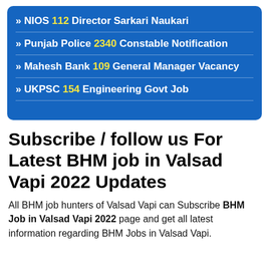» NIOS 112 Director Sarkari Naukari
» Punjab Police 2340 Constable Notification
» Mahesh Bank 109 General Manager Vacancy
» UKPSC 154 Engineering Govt Job
Subscribe / follow us For Latest BHM job in Valsad Vapi 2022 Updates
All BHM job hunters of Valsad Vapi can Subscribe BHM Job in Valsad Vapi 2022 page and get all latest information regarding BHM Jobs in Valsad Vapi.